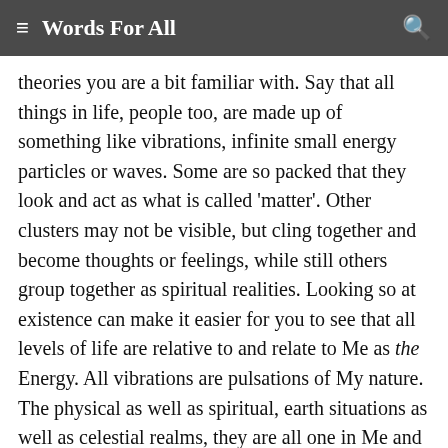≡  Words For All
theories you are a bit familiar with. Say that all things in life, people too, are made up of something like vibrations, infinite small energy particles or waves. Some are so packed that they look and act as what is called 'matter'. Other clusters may not be visible, but cling together and become thoughts or feelings, while still others group together as spiritual realities. Looking so at existence can make it easier for you to see that all levels of life are relative to and relate to Me as the Energy. All vibrations are pulsations of My nature. The physical as well as spiritual, earth situations as well as celestial realms, they are all one in Me and from Me. Therefore, I am there where any life is. Which, of course, is everywhere. Don't try to picture this with your human brains, because you can't. Yet it means in a very practical way that when you reach out to Me and connect it is not just some spiritual activity. It is aligning the vibrations you consist of, as much as you can,